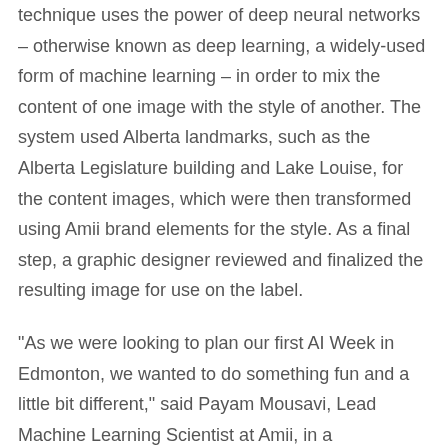technique uses the power of deep neural networks – otherwise known as deep learning, a widely-used form of machine learning – in order to mix the content of one image with the style of another. The system used Alberta landmarks, such as the Alberta Legislature building and Lake Louise, for the content images, which were then transformed using Amii brand elements for the style. As a final step, a graphic designer reviewed and finalized the resulting image for use on the label.
“As we were looking to plan our first AI Week in Edmonton, we wanted to do something fun and a little bit different,” said Payam Mousavi, Lead Machine Learning Scientist at Amii, in a